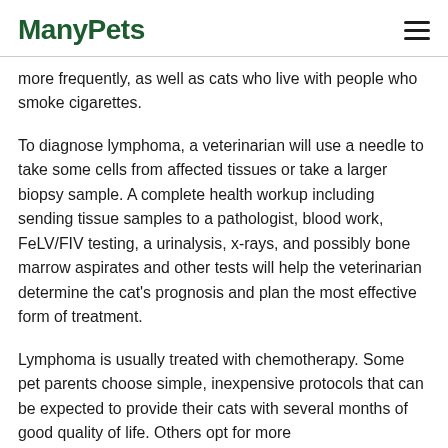ManyPets
more frequently, as well as cats who live with people who smoke cigarettes.
To diagnose lymphoma, a veterinarian will use a needle to take some cells from affected tissues or take a larger biopsy sample. A complete health workup including sending tissue samples to a pathologist, blood work, FeLV/FIV testing, a urinalysis, x-rays, and possibly bone marrow aspirates and other tests will help the veterinarian determine the cat's prognosis and plan the most effective form of treatment.
Lymphoma is usually treated with chemotherapy. Some pet parents choose simple, inexpensive protocols that can be expected to provide their cats with several months of good quality of life. Others opt for more